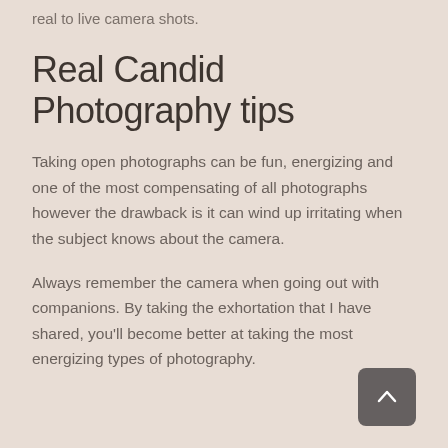real to live camera shots.
Real Candid Photography tips
Taking open photographs can be fun, energizing and one of the most compensating of all photographs however the drawback is it can wind up irritating when the subject knows about the camera.
Always remember the camera when going out with companions. By taking the exhortation that I have shared, you'll become better at taking the most energizing types of photography.